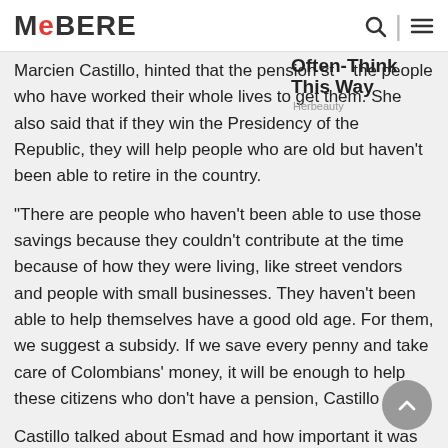MeBERE
Marcien Castillo, hinted that the pension st... the people who have worked their whole lives to get them. She also said that if they win the Presidency of the Republic, they will help people who are old but haven't been able to retire in the country.
"There are people who haven't been able to use those savings because they couldn't contribute at the time because of how they were living, like street vendors and people with small businesses. They haven't been able to help themselves have a good old age. For them, we suggest a subsidy. If we save every penny and take care of Colombians' money, it will be enough to help these citizens who don't have a pension, Castillo said.
Castillo talked about Esmad and how important it was to train the uniformed. "We need to get our Public Force back